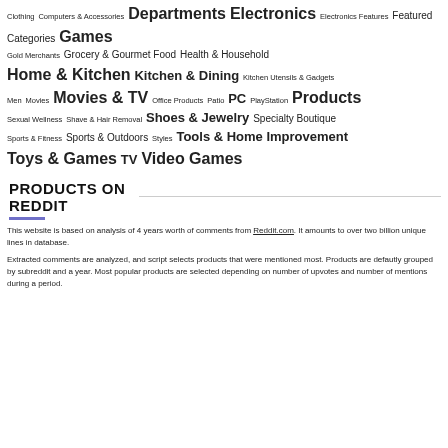Clothing Computers & Accessories Departments Electronics Electronics Features Featured Categories Games Gold Merchants Grocery & Gourmet Food Health & Household Home & Kitchen Kitchen & Dining Kitchen Utensils & Gadgets Men Movies Movies & TV Office Products Patio PC PlayStation Products Sexual Wellness Shave & Hair Removal Shoes & Jewelry Specialty Boutique Sports & Fitness Sports & Outdoors Styles Tools & Home Improvement Toys & Games TV Video Games
PRODUCTS ON REDDIT
This website is based on analysis of 4 years worth of comments from Reddit.com. It amounts to over two billion unique lines in database.
Extracted comments are analyzed, and script selects products that were mentioned most. Products are defaulty grouped by subreddit and a year. Most popular products are selected depending on number of upvotes and number of mentions during a period.